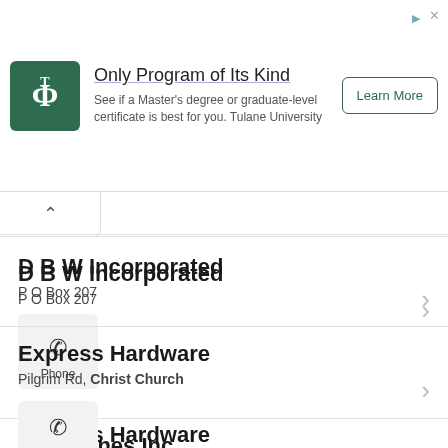[Figure (screenshot): Advertisement banner for Tulane University with logo, headline 'Only Program of Its Kind', body text, and 'Learn More' button]
D B W Incorporated
P O Box 207
Phone
Express Hardware
Pilgrim Rd, Christ Church
Phone
Flintstones Inc